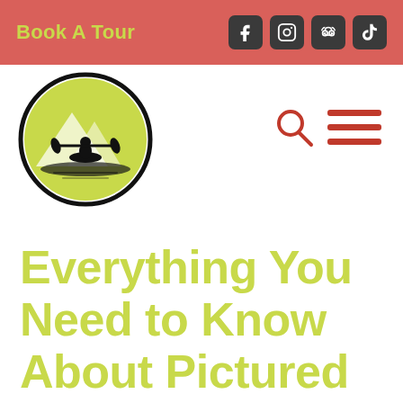Book A Tour
[Figure (logo): Kayaking tour company logo: a circular badge with a lime green background showing a silhouetted kayaker on water, surrounded by a black border circle]
Everything You Need to Know About Pictured Rocks Kayaking